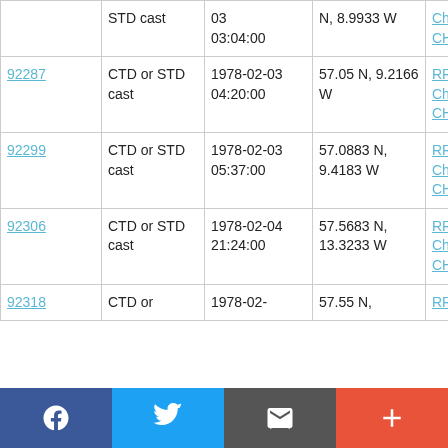| ID | Type | Date/Time | Location | Ship |
| --- | --- | --- | --- | --- |
|  | STD cast | 03
03:04:00 | N, 8.9933 W | RRS Challenger CH2/78 |
| 92287 | CTD or STD cast | 1978-02-03
04:20:00 | 57.05 N, 9.2166 W | RRS Challenger CH2/78 |
| 92299 | CTD or STD cast | 1978-02-03
05:37:00 | 57.0883 N, 9.4183 W | RRS Challenger CH2/78 |
| 92306 | CTD or STD cast | 1978-02-04
21:24:00 | 57.5683 N, 13.3233 W | RRS Challenger CH2/78 |
| 92318 | CTD or | 1978-02- | 57.55 N, | RRS |